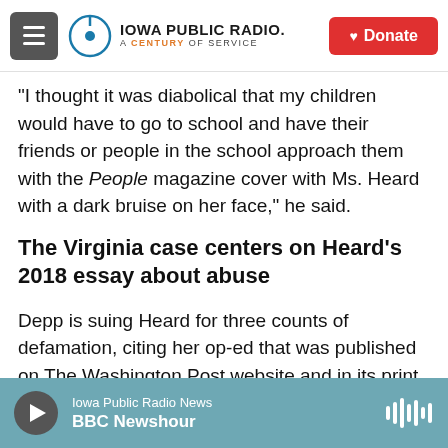Iowa Public Radio. A Century of Service. Donate.
"I thought it was diabolical that my children would have to go to school and have their friends or people in the school approach them with the People magazine cover with Ms. Heard with a dark bruise on her face," he said.
The Virginia case centers on Heard's 2018 essay about abuse
Depp is suing Heard for three counts of defamation, citing her op-ed that was published on The Washington Post website and in its print newspaper, as well as Heard's posting a link to the
Iowa Public Radio News / BBC Newshour